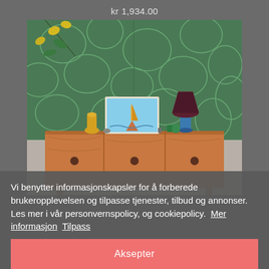kr 1,934.00
[Figure (photo): A wooden mid-century sideboard/dresser against a green floral wallpaper. On top: a framed painting of a sailboat, a yellow vase, small decorative objects, and a lamp with a dark shade on a blue base.]
Vi benytter informasjonskapsler for å forberede brukeropplevelsen og tilpasse tjenester, tilbud og annonser. Les mer i vår personvernspolicy, og cookiepolicy.  Mer informasjon  Tilpass
Aksepter